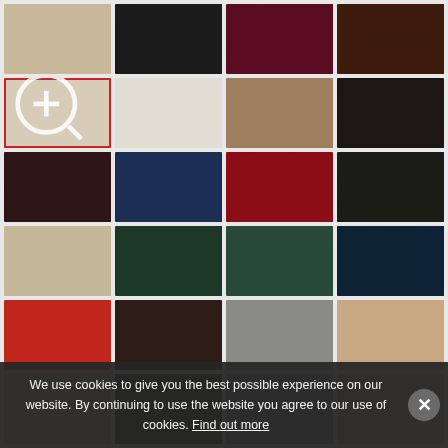[Figure (photo): Grid of leather texture swatches in various colors: beige/cream, black, dark red/burgundy, dark brown (row 1); light cream (selected with red border and zoom icon), off-white/cream, tan/camel, very dark brown (row 2); dark brown/espresso, navy blue, red/crimson, very dark charcoal/black (row 3); light beige/tan, dark green, teal/forest green, dark navy (row 4); red/orange-red, dark chocolate brown, grey, light tan/caramel (row 5, partially visible)]
We use cookies to give you the best possible experience on our website. By continuing to use the website you agree to our use of cookies. Find out more